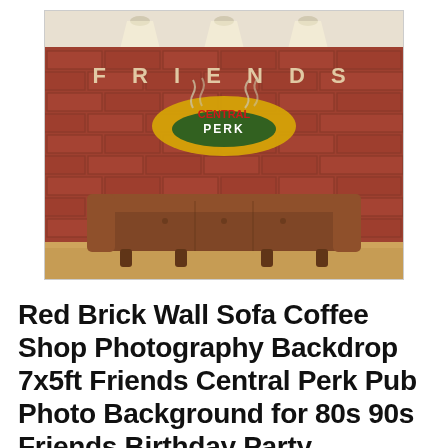[Figure (photo): Product photo showing a photography backdrop featuring a Friends Central Perk coffee shop theme — red brick wall background, iconic Central Perk logo sign, and a brown leather sofa, with studio lighting above.]
Red Brick Wall Sofa Coffee Shop Photography Backdrop 7x5ft Friends Central Perk Pub Photo Background for 80s 90s Friends Birthday Party Decoration Banner